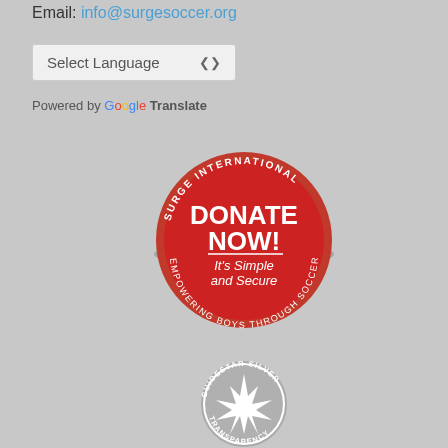Email: info@surgesoccer.org
Select Language
Powered by Google Translate
[Figure (logo): Red circular badge with text SURGE INTERNATIONAL around the top arc and EMPOWERING BOYS THROUGH SOCCER around the bottom arc, with DONATE NOW! It's Simple and Secure in white text in the center]
[Figure (logo): GuideStar Silver Transparency circular badge with a silver star/compass rose in the center and GUIDESTAR SILVER TRANSPARENCY text around the ring]